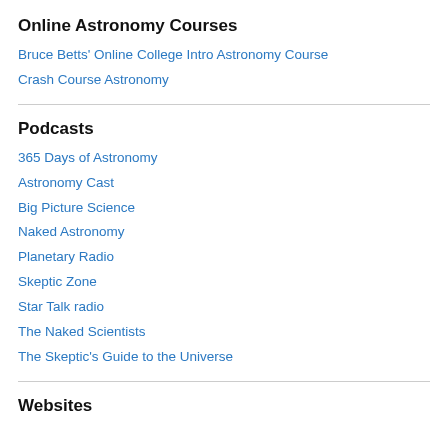Online Astronomy Courses
Bruce Betts' Online College Intro Astronomy Course
Crash Course Astronomy
Podcasts
365 Days of Astronomy
Astronomy Cast
Big Picture Science
Naked Astronomy
Planetary Radio
Skeptic Zone
Star Talk radio
The Naked Scientists
The Skeptic's Guide to the Universe
Websites